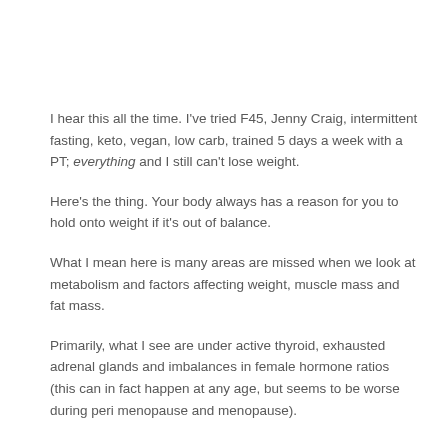I hear this all the time. I've tried F45, Jenny Craig, intermittent fasting, keto, vegan, low carb, trained 5 days a week with a PT; everything and I still can't lose weight.
Here's the thing. Your body always has a reason for you to hold onto weight if it's out of balance.
What I mean here is many areas are missed when we look at metabolism and factors affecting weight, muscle mass and fat mass.
Primarily, what I see are under active thyroid, exhausted adrenal glands and imbalances in female hormone ratios (this can in fact happen at any age, but seems to be worse during peri menopause and menopause).